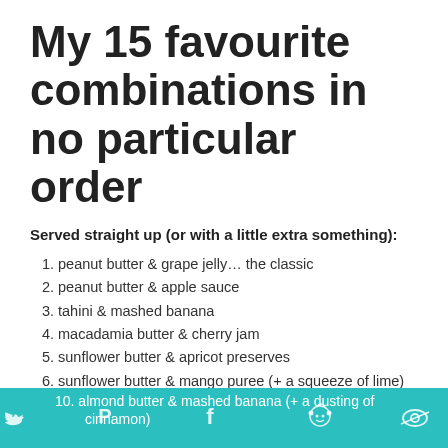My 15 favourite combinations in no particular order
Served straight up (or with a little extra something):
peanut butter & grape jelly… the classic
peanut butter & apple sauce
tahini & mashed banana
macadamia butter & cherry jam
sunflower butter & apricot preserves
sunflower butter & mango puree (+ a squeeze of lime)
tahini & crushed raspberries (+ a drizzle of coconut milk or coconut butter)
tahini & smushed pear (+ a dusting of ginger)
almond butter & sliced apples (+ a dash of cinnamon)
almond butter & mashed banana (+ a dusting of cinnamon)
[Figure (infographic): Social media sharing bar with Twitter, Pinterest, Facebook, Reddit, and email icons on teal background]